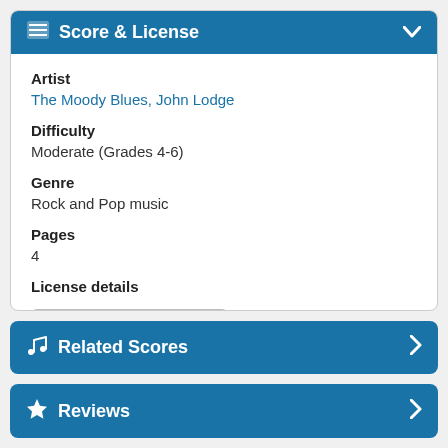Score & License
Artist
The Moody Blues, John Lodge
Difficulty
Moderate (Grades 4-6)
Genre
Rock and Pop music
Pages
4
License details
View licensing details...
Related Scores
Reviews